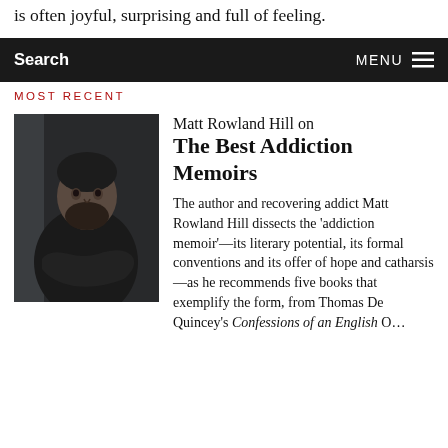is often joyful, surprising and full of feeling.
Search   MENU
MOST RECENT
[Figure (photo): Portrait photo of Matt Rowland Hill, a bearded man in a dark sweater with arms crossed]
Matt Rowland Hill on The Best Addiction Memoirs
The author and recovering addict Matt Rowland Hill dissects the 'addiction memoir'—its literary potential, its formal conventions and its offer of hope and catharsis—as he recommends five books that exemplify the form, from Thomas De Quincey's Confessions of an English Opium-Eater to Mary Karr...